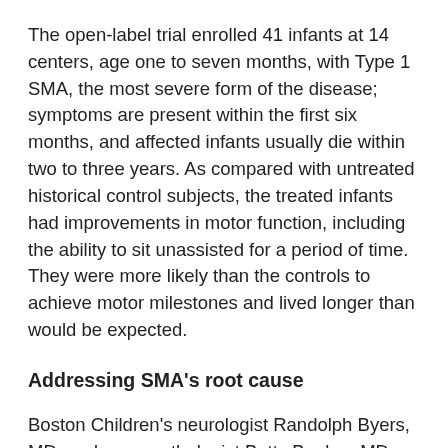The open-label trial enrolled 41 infants at 14 centers, age one to seven months, with Type 1 SMA, the most severe form of the disease; symptoms are present within the first six months, and affected infants usually die within two to three years. As compared with untreated historical control subjects, the treated infants had improvements in motor function, including the ability to sit unassisted for a period of time. They were more likely than the controls to achieve motor milestones and lived longer than would be expected.
Addressing SMA's root cause
Boston Children's neurologist Randolph Byers, MD, and neuropathologist Betty Banker, MD, first defined infantile SMA in 1961. Over the past decade, Boston Children's has been heavily involved in the development and clinical testing of therapies targeting SMA's root cause: an inability to make enough of the SMN protein needed for normal